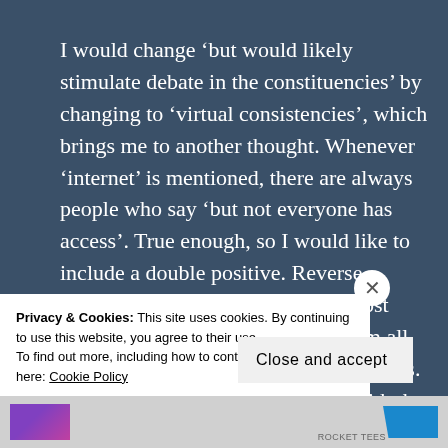I would change 'but would likely stimulate debate in the constituencies' by changing to 'virtual consistencies', which brings me to another thought. Whenever 'internet' is mentioned, there are always people who say 'but not everyone has access'. True enough, so I would like to include a double positive. Reverse closure of local facilities such as post offices and libraries, and equip them all with free (or cheap) to use internet cafes. And when the detractors pipe up with the usual 'but not everyone can use them, reply 'silver surfer's'. And where people
Privacy & Cookies: This site uses cookies. By continuing to use this website, you agree to their use.
To find out more, including how to control cookies, see here: Cookie Policy
Close and accept